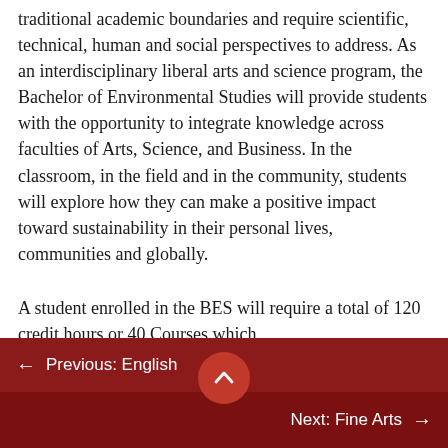traditional academic boundaries and require scientific, technical, human and social perspectives to address. As an interdisciplinary liberal arts and science program, the Bachelor of Environmental Studies will provide students with the opportunity to integrate knowledge across faculties of Arts, Science, and Business. In the classroom, in the field and in the community, students will explore how they can make a positive impact toward sustainability in their personal lives, communities and globally.
A student enrolled in the BES will require a total of 120 credit hours or 40 Courses which
← Previous: English
Next: Fine Arts →